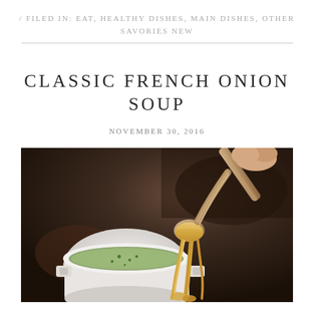/ FILED IN: EAT, HEALTHY DISHES, MAIN DISHES, OTHER SAVORIES NEW
CLASSIC FRENCH ONION SOUP
NOVEMBER 30, 2016
[Figure (photo): Close-up photo of a hand holding a spoon lifting melted cheese from a bowl of French onion soup. A white ceramic ramekin with soup and green herb garnish is visible in the background against a dark background.]